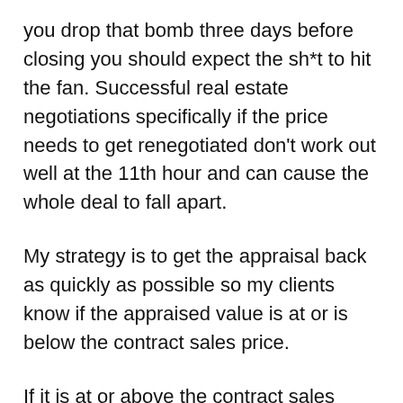you drop that bomb three days before closing you should expect the sh*t to hit the fan. Successful real estate negotiations specifically if the price needs to get renegotiated don't work out well at the 11th hour and can cause the whole deal to fall apart.
My strategy is to get the appraisal back as quickly as possible so my clients know if the appraised value is at or is below the contract sales price.
If it is at or above the contract sales price then that means you negotiated well from the get-go. But, if it is below the agreed upon sales price then you have decisions to make depending upon the appraisal contingency in your sales contract